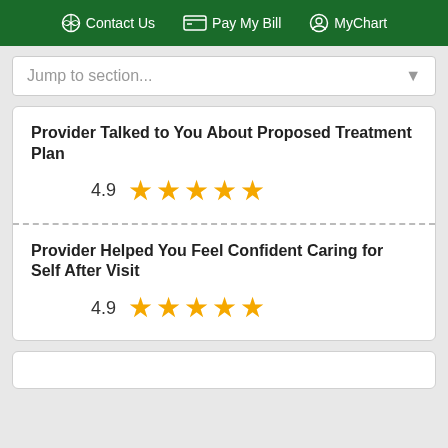Contact Us  Pay My Bill  MyChart
Jump to section...
Provider Talked to You About Proposed Treatment Plan
4.9  ★★★★★
Provider Helped You Feel Confident Caring for Self After Visit
4.9  ★★★★★